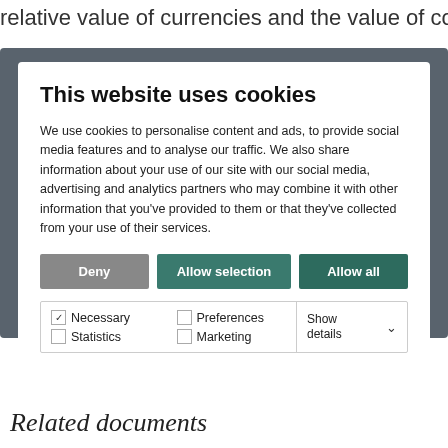relative value of currencies and the value of commodity
[Figure (screenshot): Cookie consent dialog overlay with title 'This website uses cookies', descriptive text about cookie usage, three buttons (Deny, Allow selection, Allow all), and checkboxes for Necessary, Preferences, Statistics, Marketing with Show details dropdown.]
Related documents